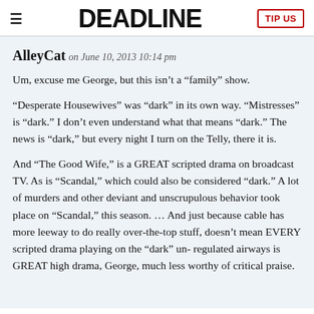≡  DEADLINE  TIP US
AlleyCat on June 10, 2013 10:14 pm
Um, excuse me George, but this isn't a “family” show.
“Desperate Housewives” was “dark” in its own way. “Mistresses” is “dark.” I don’t even understand what that means “dark.” The news is “dark,” but every night I turn on the Telly, there it is.
And “The Good Wife,” is a GREAT scripted drama on broadcast TV. As is “Scandal,” which could also be considered “dark.” A lot of murders and other deviant and unscrupulous behavior took place on “Scandal,” this season. … And just because cable has more leeway to do really over-the-top stuff, doesn’t mean EVERY scripted drama playing on the “dark” un-regulated airways is GREAT high drama, George, much less worthy of critical praise.